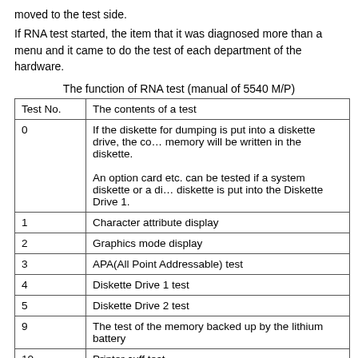moved to the test side.
If RNA test started, the item that it was diagnosed more than a menu and it came to do the test of each department of the hardware.
The function of RNA test (manual of 5540 M/P)
| Test No. | The contents of a test |
| --- | --- |
| 0 | If the diskette for dumping is put into a diskette drive, the contents of memory will be written in the diskette.

An option card etc. can be tested if a system diskette or a diagnostic diskette is put into the Diskette Drive 1. |
| 1 | Character attribute display |
| 2 | Graphics mode display |
| 3 | APA(All Point Addressable) test |
| 4 | Diskette Drive 1 test |
| 5 | Diskette Drive 2 test |
| 9 | The test of the memory backed up by the lithium battery |
| 10 | Printer cuff test |
| 11 | Data printing test |
| 12 | RAT starting |